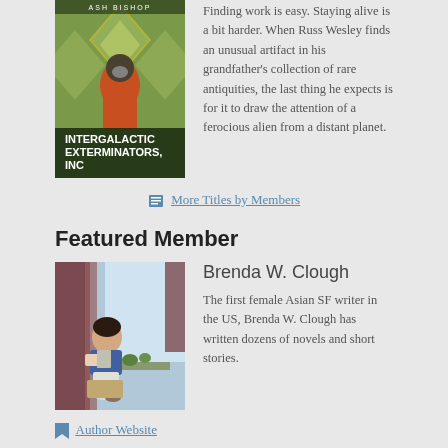[Figure (illustration): Book cover for 'Intergalactic Exterminators, Inc' by Ash Bishop, showing a figure in a gas mask against a colorful geometric background]
Finding work is easy. Staying alive is a bit harder. When Russ Wesley finds an unusual artifact in his grandfather's collection of rare antiquities, the last thing he expects is for it to draw the attention of a ferocious alien from a distant planet.
More Titles by Members
Featured Member
[Figure (photo): Photo of Brenda W. Clough, a woman sitting by a window reading]
Brenda W. Clough
The first female Asian SF writer in the US, Brenda W. Clough has written dozens of novels and short stories.
Author Website